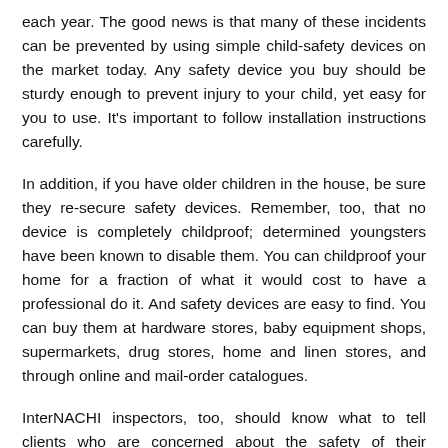each year. The good news is that many of these incidents can be prevented by using simple child-safety devices on the market today. Any safety device you buy should be sturdy enough to prevent injury to your child, yet easy for you to use. It's important to follow installation instructions carefully.
In addition, if you have older children in the house, be sure they re-secure safety devices. Remember, too, that no device is completely childproof; determined youngsters have been known to disable them. You can childproof your home for a fraction of what it would cost to have a professional do it. And safety devices are easy to find. You can buy them at hardware stores, baby equipment shops, supermarkets, drug stores, home and linen stores, and through online and mail-order catalogues.
InterNACHI inspectors, too, should know what to tell clients who are concerned about the safety of their children. Here are some child-safety devices that can help prevent many injuries to young children.
1.  Use safety latches and locks for cabinets and drawers in kitchens, bathrooms, and other areas to help prevent poisonings and other